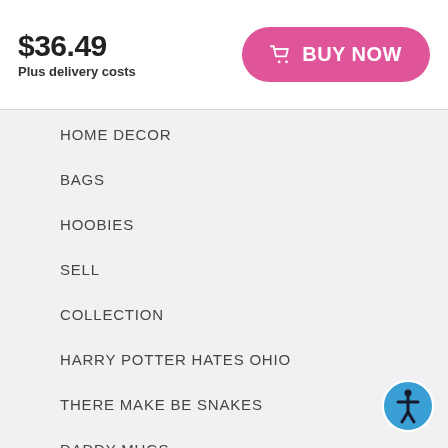$36.49
Plus delivery costs
HOME DECOR
BAGS
HOOBIES
SELL
COLLECTION
HARRY POTTER HATES OHIO
THERE MAKE BE SNAKES
DADDY MUGS
GIFTS
CAMPAIGNS